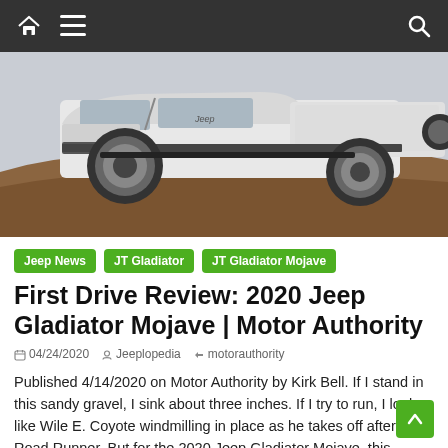Navigation bar with home, menu, and search icons
[Figure (photo): White Jeep Gladiator Mojave truck photographed from side profile, elevated on sandy/dirt terrain mound against light sky background.]
Jeep News
JT Gladiator
JT Gladiator Mojave
First Drive Review: 2020 Jeep Gladiator Mojave | Motor Authority
04/24/2020   Jeeplopedia   motorauthority
Published 4/14/2020 on Motor Authority by Kirk Bell. If I stand in this sandy gravel, I sink about three inches. If I try to run, I look like Wile E. Coyote windmilling in place as he takes off after the Road Runner. But for the 2020 Jeep Gladiator Mojave, this terrain is a cakewalk.